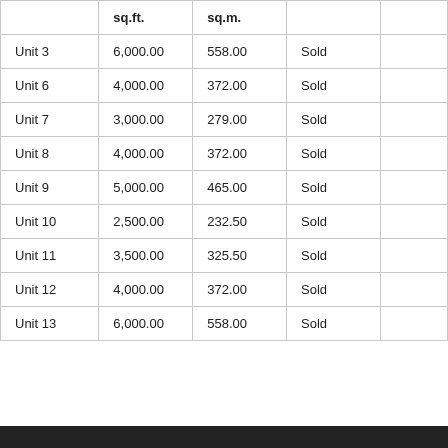|  | sq.ft. | sq.m. |  |  |
| --- | --- | --- | --- | --- |
| Unit 3 | 6,000.00 | 558.00 | Sold |  |
| Unit 6 | 4,000.00 | 372.00 | Sold |  |
| Unit 7 | 3,000.00 | 279.00 | Sold |  |
| Unit 8 | 4,000.00 | 372.00 | Sold |  |
| Unit 9 | 5,000.00 | 465.00 | Sold |  |
| Unit 10 | 2,500.00 | 232.50 | Sold |  |
| Unit 11 | 3,500.00 | 325.50 | Sold |  |
| Unit 12 | 4,000.00 | 372.00 | Sold |  |
| Unit 13 | 6,000.00 | 558.00 | Sold |  |